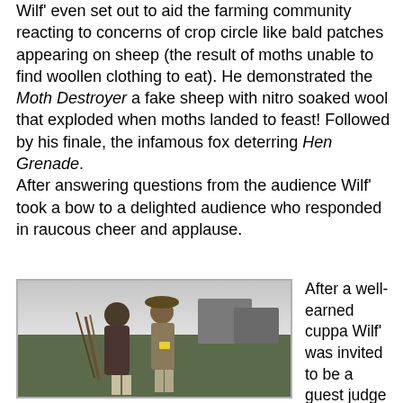Wilf' even set out to aid the farming community reacting to concerns of crop circle like bald patches appearing on sheep (the result of moths unable to find woollen clothing to eat). He demonstrated the Moth Destroyer a fake sheep with nitro soaked wool that exploded when moths landed to feast! Followed by his finale, the infamous fox deterring Hen Grenade.
After answering questions from the audience Wilf' took a bow to a delighted audience who responded in raucous cheer and applause.
[Figure (photo): Two people standing outdoors, one holding what appear to be branches or sticks, wearing outdoor clothing]
After a well-earned cuppa Wilf' was invited to be a guest judge for costume competition no easy task as the standard seems to increase with each passing year! The winner was selected and announced a spectacular set of mechanical wings, powered by a housefly encased in the backpack. Then it was outside for an attempt at making it into the Guinness World Record for the largest gathering of